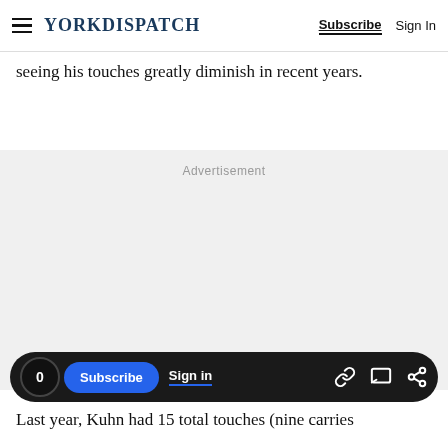YORK DISPATCH — Subscribe  Sign In
seeing his touches greatly diminish in recent years.
Advertisement
0  Subscribe  Sign in
Last year, Kuhn had 15 total touches (nine carries